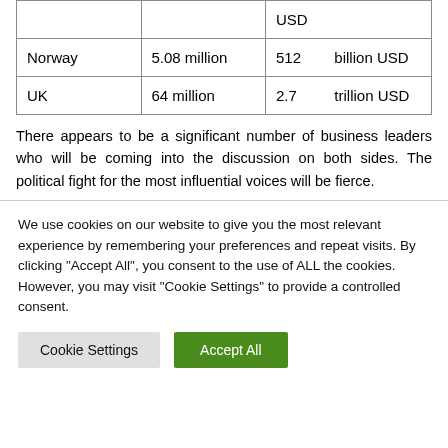| Country | Population | GDP |
| --- | --- | --- |
|  |  | USD |
| Norway | 5.08 million | 512 billion USD |
| UK | 64 million | 2.7 trillion USD |
There appears to be a significant number of business leaders who will be coming into the discussion on both sides. The political fight for the most influential voices will be fierce.
We use cookies on our website to give you the most relevant experience by remembering your preferences and repeat visits. By clicking "Accept All", you consent to the use of ALL the cookies. However, you may visit "Cookie Settings" to provide a controlled consent.